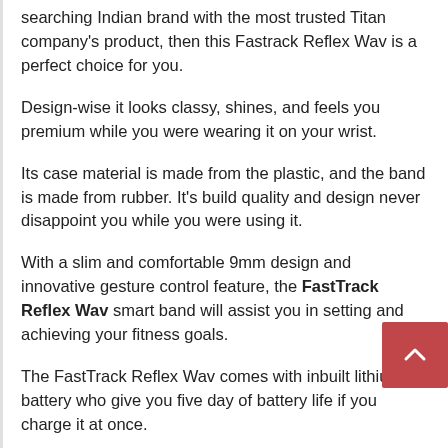searching Indian brand with the most trusted Titan company's product, then this Fastrack Reflex Wav is a perfect choice for you.
Design-wise it looks classy, shines, and feels you premium while you were wearing it on your wrist.
Its case material is made from the plastic, and the band is made from rubber. It's build quality and design never disappoint you while you were using it.
With a slim and comfortable 9mm design and innovative gesture control feature, the FastTrack Reflex Wav smart band will assist you in setting and achieving your fitness goals.
The FastTrack Reflex Wav comes with inbuilt lithium battery who give you five day of battery life if you charge it at once.
The FastTrack Reflex Wav fitness tracker comes with accelerometer sensor, along with this it has weather update so that it can measure or calculate the weather